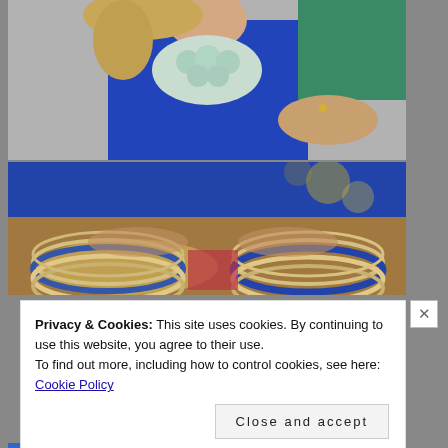[Figure (photo): Two women, one wearing a blue dress with a floral statement necklace, the other wearing a teal top. The lower half shows arms adorned with many stacked bangles and bracelets in gold, silver, and blue.]
Privacy & Cookies: This site uses cookies. By continuing to use this website, you agree to their use.
To find out more, including how to control cookies, see here: Cookie Policy
Close and accept